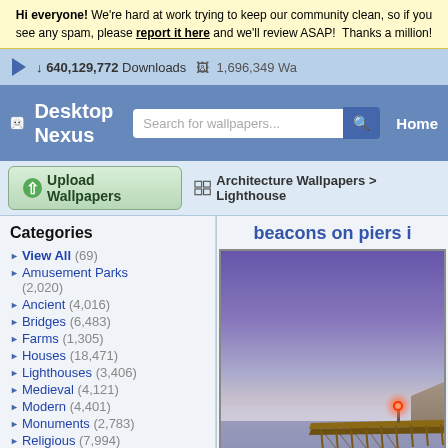Hi everyone! We're hard at work trying to keep our community clean, so if you see any spam, please report it here and we'll review ASAP! Thanks a million!
640,129,772 Downloads   1,696,349 Wa...
[Figure (logo): Desktop Nexus logo with robot mascot icon and site name]
Search for wallpapers...  Home
Upload Wallpapers
Architecture Wallpapers > Lighthouse
Categories
View All (69)
Amusement Parks (2,020)
Ancient (4,016)
Bridges (6,483)
Farms (1,305)
Houses (18,471)
Lighthouses (3,406)
Medieval (4,121)
Modern (4,401)
Monuments (2,783)
Religious (7,994)
Skyscrapers (3,833)
Other (15,579)
beacons on piers i
[Figure (photo): Pier with a red beacon light at dusk over calm water, dramatic purple-blue sky]